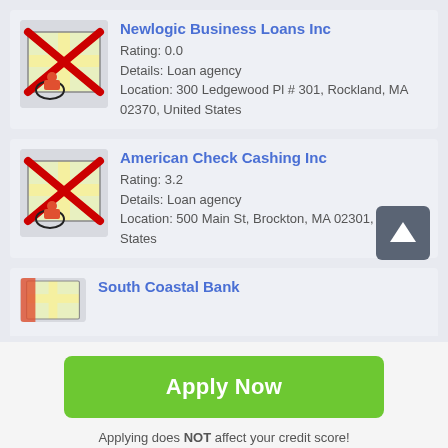[Figure (screenshot): Map thumbnail with red X overlay and location pin, for Newlogic Business Loans Inc]
Newlogic Business Loans Inc
Rating: 0.0
Details: Loan agency
Location: 300 Ledgewood Pl # 301, Rockland, MA 02370, United States
[Figure (screenshot): Map thumbnail with red X overlay and location pin, for American Check Cashing Inc]
American Check Cashing Inc
Rating: 3.2
Details: Loan agency
Location: 500 Main St, Brockton, MA 02301, United States
[Figure (screenshot): Map thumbnail partially visible for South Coastal Bank]
South Coastal Bank
Apply Now
Applying does NOT affect your credit score!
No credit check to apply.